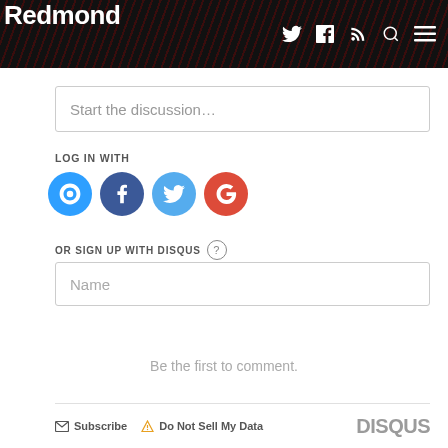Redmond
Start the discussion…
LOG IN WITH
[Figure (infographic): Social login icons: Disqus (blue), Facebook (dark blue), Twitter (light blue), Google (red)]
OR SIGN UP WITH DISQUS ?
Name
Be the first to comment.
Subscribe  Do Not Sell My Data  DISQUS